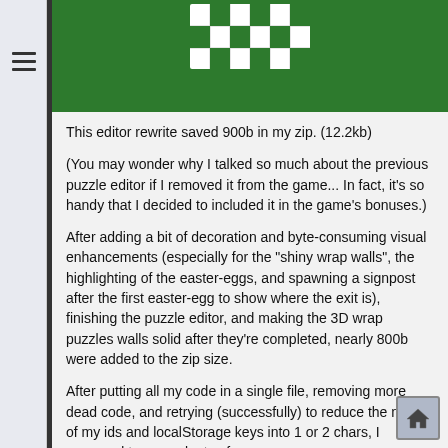[Figure (screenshot): Green header banner with a white grid/puzzle icon at the top center]
This editor rewrite saved 900b in my zip. (12.2kb)
(You may wonder why I talked so much about the previous puzzle editor if I removed it from the game... In fact, it's so handy that I decided to included it in the game's bonuses.)
After adding a bit of decoration and byte-consuming visual enhancements (especially for the "shiny wrap walls", the highlighting of the easter-eggs, and spawning a signpost after the first easter-egg to show where the exit is), finishing the puzzle editor, and making the 3D wrap puzzles walls solid after they're completed, nearly 800b were added to the zip size.
After putting all my code in a single file, removing more dead code, and retrying (successfully) to reduce the names of my ids and localStorage keys into 1 or 2 chars, I managed to save plenty of space.
I'm still very close to 13kb... and there's no music yet...